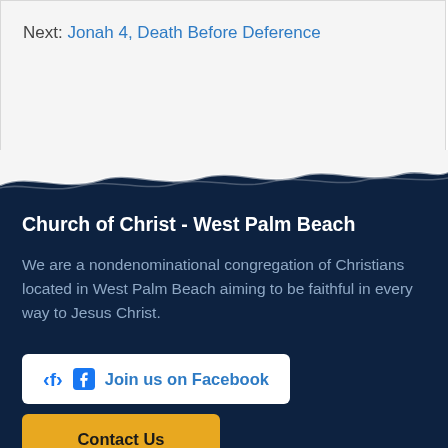Next: Jonah 4, Death Before Deference
[Figure (illustration): Wavy water divider between white top section and dark navy bottom section, showing ocean wave silhouette with white foam highlights]
Church of Christ - West Palm Beach
We are a nondenominational congregation of Christians located in West Palm Beach aiming to be faithful in every way to Jesus Christ.
Join us on Facebook
Contact Us
worship with us
West Palm Beach church of Christ